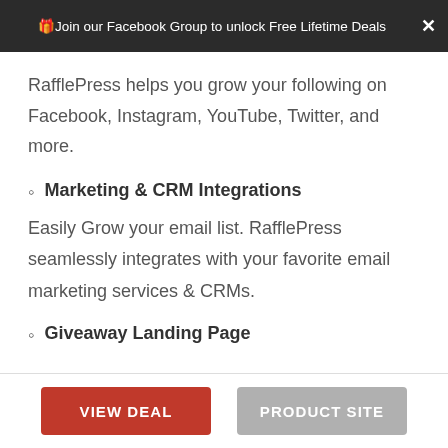🎁Join our Facebook Group to unlock Free Lifetime Deals ✕
RafflePress helps you grow your following on Facebook, Instagram, YouTube, Twitter, and more.
Marketing & CRM Integrations
Easily Grow your email list. RafflePress seamlessly integrates with your favorite email marketing services & CRMs.
Giveaway Landing Page